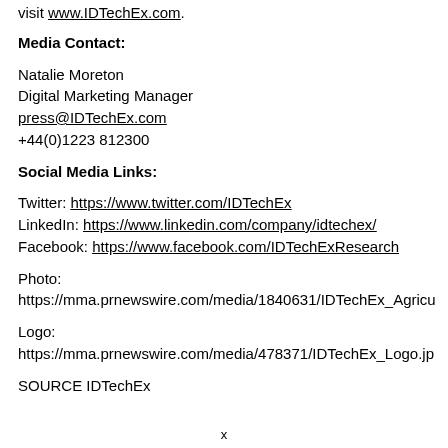visit www.IDTechEx.com.
Media Contact:
Natalie Moreton
Digital Marketing Manager
press@IDTechEx.com
+44(0)1223 812300
Social Media Links:
Twitter: https://www.twitter.com/IDTechEx
LinkedIn: https://www.linkedin.com/company/idtechex/
Facebook: https://www.facebook.com/IDTechExResearch
Photo:
https://mma.prnewswire.com/media/1840631/IDTechEx_Agricu
Logo:
https://mma.prnewswire.com/media/478371/IDTechEx_Logo.jp
SOURCE IDTechEx
x